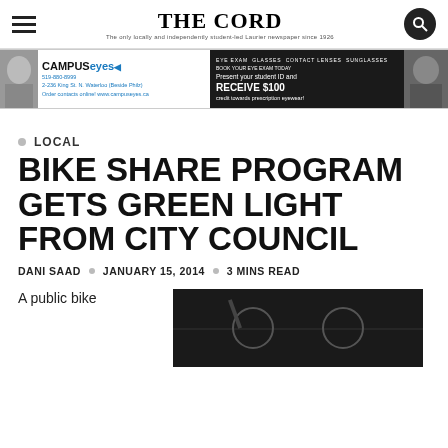THE CORD
[Figure (photo): CampusEyes advertisement banner showing a woman with glasses on the left and prescription eyewear promotion on the right with text: CAMPUS eyes, 519-880-8999, 2-236 King St. N. Waterloo (Beside Philz), Order contacts online! www.campuseyes.ca, EYE EXAM, GLASSES, CONTACT LENSES, SUNGLASSES, BOOK YOUR EYE EXAM TODAY, Present your student ID and RECEIVE $100 credit towards prescription eyewear!]
LOCAL
BIKE SHARE PROGRAM GETS GREEN LIGHT FROM CITY COUNCIL
DANI SAAD • JANUARY 15, 2014 • 3 MINS READ
A public bike
[Figure (photo): Dark photograph, appears to show bicycles or bike-related equipment]